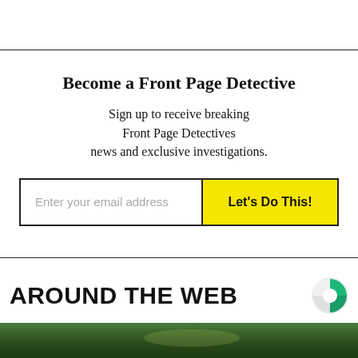Become a Front Page Detective
Sign up to receive breaking Front Page Detectives news and exclusive investigations.
Enter your email address  Let's Do This!
AROUND THE WEB
[Figure (logo): Circular logo with green and teal quadrant design (Taboola-style logo)]
[Figure (photo): Photo strip of green foliage / plant leaves at bottom of page]